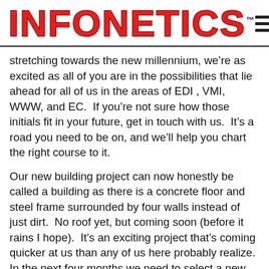INFONETICS
stretching towards the new millennium, we’re as excited as all of you are in the possibilities that lie ahead for all of us in the areas of EDI , VMI, WWW, and EC.  If you’re not sure how those initials fit in your future, get in touch with us.  It’s a road you need to be on, and we’ll help you chart the right course to it.
Our new building project can now honestly be called a building as there is a concrete floor and steel frame surrounded by four walls instead of just dirt.  No roof yet, but coming soon (before it rains I hope).  It’s an exciting project that’s coming quicker at us than any of us here probably realize.  In the next four months we need to select a new phone system, carpets, wall and window treatment, office